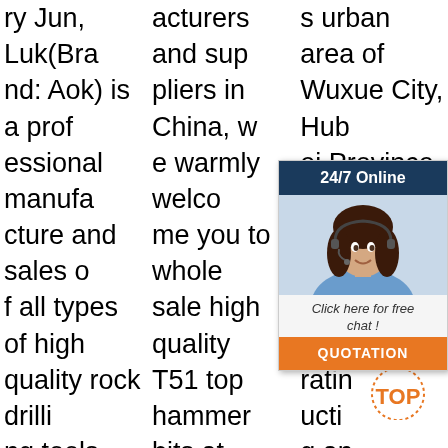ry Jun, Luk(Brand: Aok) is a professional manufacture and sales of all types of high quality rock drilling tools are Integral Drill Rods, Taper Rods and Bits, Drill Bits,Cross Bits,Shank end Rods, Extension Rods (Bench Drilling),Couplings, Drifter Rods, Cross over coupling, Cross over adapt
acturers and suppliers in China, we warmly welcome you to wholesale high quality T51 top hammer bits at competitive price from our factory. Also, customized service is available.
[Figure (other): Orange Get Price button]
s urban area of Wuxue City, Hubei Province, China. It is a scientific and l enterprise, rating and uction g and com en p production g' brand rock drilling tools since 1980. It passed the ISO9001 quality management s
[Figure (other): Customer service chat widget overlay with agent photo, 24/7 Online header, Click here for free chat link, and QUOTATION orange button]
[Figure (other): TOP badge watermark in lower right corner]